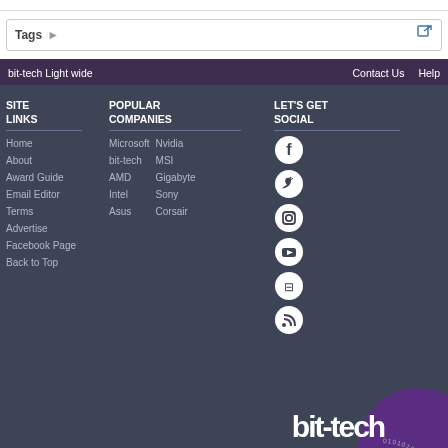Tags
bit-tech Light wide    Contact Us    Help
SITE LINKS
Home
About
Award Guide
Email Editor
Terms
Advertise
Facebook Page
Back to Top
POPULAR COMPANIES
Microsoft  Nvidia
bit-tech  MSI
AMD  Gigabyte
Intel  Sony
Asus  Corsair
LET'S GET SOCIAL
[Figure (logo): bit-tech logo with circular binary pattern graphic]
bit-tech